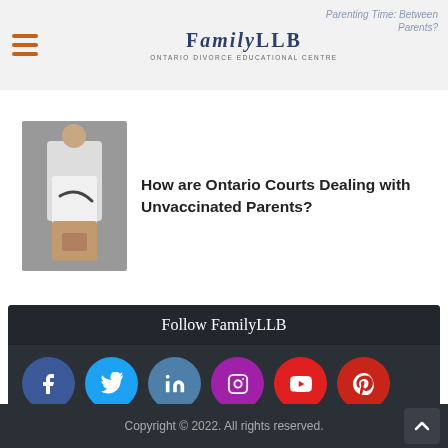FamilyLLB — Ontario Divorce Educational Centre
[Figure (photo): Article card with photo of person holding a syringe/vial and heading: How are Ontario Courts Dealing with Unvaccinated Parents?]
How are Ontario Courts Dealing with Unvaccinated Parents?
Follow FamilyLLB
[Figure (infographic): Social media icons: Facebook (blue), Twitter (light blue), LinkedIn (medium blue), Instagram (purple/magenta), YouTube (red), Pinterest (red), RSS (orange)]
Copyright © 2022. All rights reserved.